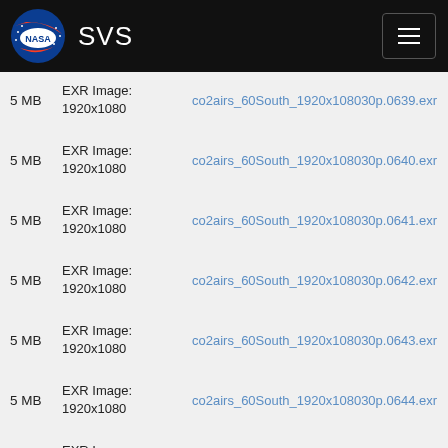NASA SVS
5 MB | EXR Image: 1920x1080 | co2airs_60South_1920x108030p.0639.exr
5 MB | EXR Image: 1920x1080 | co2airs_60South_1920x108030p.0640.exr
5 MB | EXR Image: 1920x1080 | co2airs_60South_1920x108030p.0641.exr
5 MB | EXR Image: 1920x1080 | co2airs_60South_1920x108030p.0642.exr
5 MB | EXR Image: 1920x1080 | co2airs_60South_1920x108030p.0643.exr
5 MB | EXR Image: 1920x1080 | co2airs_60South_1920x108030p.0644.exr
5 MB | EXR Image: 1920x1080 | co2airs_60South_1920x108030p.0645.exr
5 MB | EXR Image: 1920x1080 | co2airs_60South_1920x108030p.0646.exr
5 MB | EXR Image: 1920x1080 | co2airs_60South_1920x108030p.0647.exr
5 MB | EXR Image: 1920x1080 | co2airs_60South_1920x108030p.0648.exr